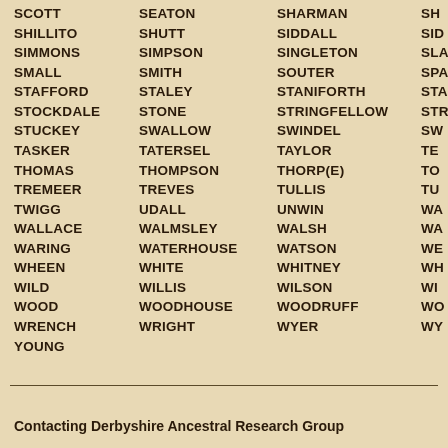SCOTT  SEATON  SHARMAN  SH...
SHILLITO  SHUTT  SIDDALL  SID...
SIMMONS  SIMPSON  SINGLETON  SLA...
SMALL  SMITH  SOUTER  SPA...
STAFFORD  STALEY  STANIFORTH  STA...
STOCKDALE  STONE  STRINGFELLOW  STR...
STUCKEY  SWALLOW  SWINDEL  SW...
TASKER  TATERSEL  TAYLOR  TE...
THOMAS  THOMPSON  THORP(E)  TO...
TREMEER  TREVES  TULLIS  TU...
TWIGG  UDALL  UNWIN  WA...
WALLACE  WALMSLEY  WALSH  WA...
WARING  WATERHOUSE  WATSON  WE...
WHEEN  WHITE  WHITNEY  WH...
WILD  WILLIS  WILSON  WI...
WOOD  WOODHOUSE  WOODRUFF  WO...
WRENCH  WRIGHT  WYER  WY...
YOUNG
Contacting Derbyshire Ancestral Research Group